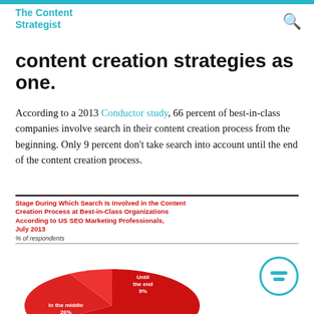The Content Strategist
content creation strategies as one.
According to a 2013 Conductor study, 66 percent of best-in-class companies involve search in their content creation process from the beginning. Only 9 percent don’t take search into account until the end of the content creation process.
[Figure (pie-chart): Stage During Which Search Is Involved in the Content Creation Process at Best-in-Class Organizations According to US SEO Marketing Professionals, July 2013]